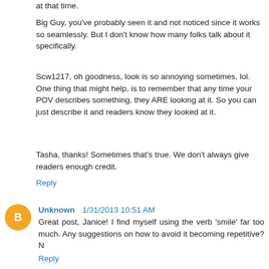at that time.
Big Guy, you've probably seen it and not noticed since it works so seamlessly. But I don't know how many folks talk about it specifically.
Scw1217, oh goodness, look is so annoying sometimes, lol. One thing that might help, is to remember that any time your POV describes something, they ARE looking at it. So you can just describe it and readers know they looked at it.
Tasha, thanks! Sometimes that's true. We don't always give readers enough credit.
Reply
Unknown 1/31/2013 10:51 AM
Great post, Janice! I find myself using the verb 'smile' far too much. Any suggestions on how to avoid it becoming repetitive?
N
Reply